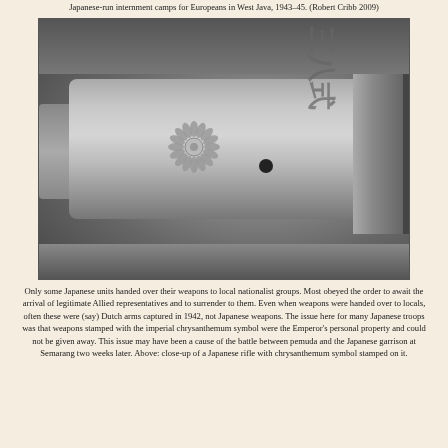Japanese-run internment camps for Europeans in West Java, 1943–45. (Robert Cribb 2009)
[Figure (photo): Close-up photograph of a Japanese rifle with chrysanthemum symbol stamped on it, showing the barrel with imperial chrysanthemum emblem and Japanese kanji markings.]
Only some Japanese units handed over their weapons to local nationalist groups. Most obeyed the order to await the arrival of legitimate Allied representatives and to surrender to them. Even when weapons were handed over to locals, often these were (say) Dutch arms captured in 1942, not Japanese weapons. The issue here for many Japanese troops was that weapons stamped with the imperial chrysanthemum symbol were the Emperor's personal property and could not be given away. This issue may have been a cause of the battle between pemuda and the Japanese garrison at Semarang two weeks later. Above: close-up of a Japanese rifle with chrysanthemum symbol stamped on it.